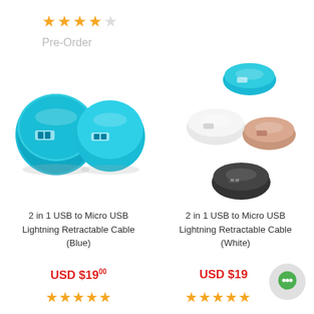★★★★☆
Pre-Order
[Figure (photo): Two round cyan/blue retractable USB cable connectors side by side]
[Figure (photo): Four round retractable USB cable connectors in blue, white, rose gold, and black colors, floating arrangement]
2 in 1 USB to Micro USB Lightning Retractable Cable (Blue)
2 in 1 USB to Micro USB Lightning Retractable Cable (White)
USD $19.00
USD $19
★★★★★
★★★★★